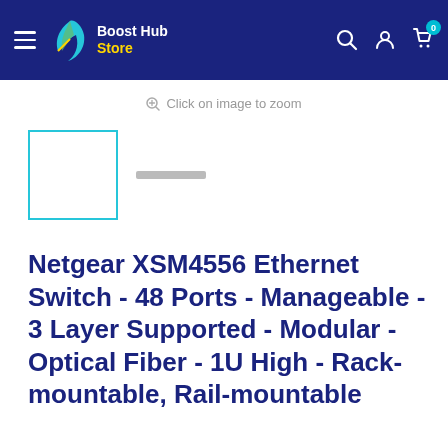Boost Hub Store
Click on image to zoom
[Figure (screenshot): Product thumbnail image box with teal/cyan border and a second thumbnail placeholder showing a small grey bar]
Netgear XSM4556 Ethernet Switch - 48 Ports - Manageable - 3 Layer Supported - Modular - Optical Fiber - 1U High - Rack-mountable, Rail-mountable